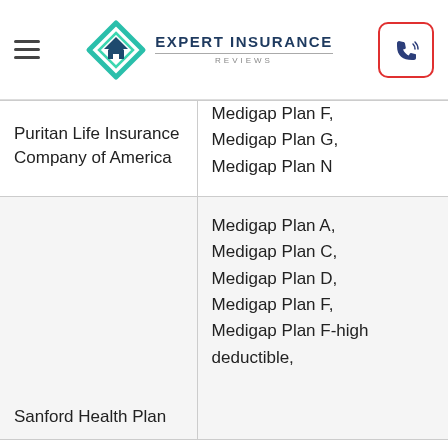Expert Insurance Reviews
| Company | Plans Offered |
| --- | --- |
| Puritan Life Insurance Company of America | Medigap Plan F,
Medigap Plan G,
Medigap Plan N |
| Sanford Health Plan | Medigap Plan A,
Medigap Plan C,
Medigap Plan D,
Medigap Plan F,
Medigap Plan F-high deductible, |